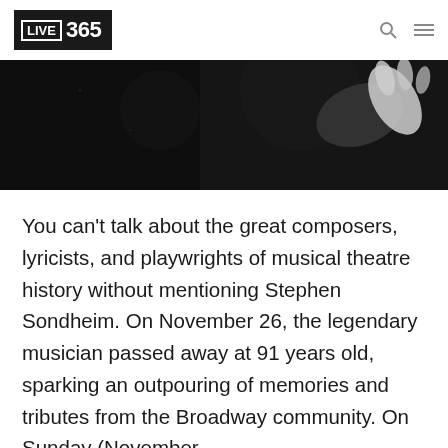LIVE 365
[Figure (photo): Black and white photo showing hands, dark background, partial figure visible]
You can't talk about the great composers, lyricists, and playwrights of musical theatre history without mentioning Stephen Sondheim. On November 26, the legendary musician passed away at 91 years old, sparking an outpouring of memories and tributes from the Broadway community. On Sunday (November